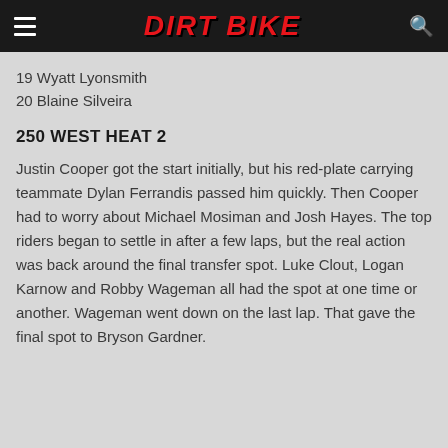DIRT BIKE
19 Wyatt Lyonsmith
20 Blaine Silveira
250 WEST HEAT 2
Justin Cooper got the start initially, but his red-plate carrying teammate Dylan Ferrandis passed him quickly. Then Cooper had to worry about Michael Mosiman and Josh Hayes. The top riders began to settle in after a few laps, but the real action was back around the final transfer spot. Luke Clout, Logan Karnow and Robby Wageman all had the spot at one time or another. Wageman went down on the last lap. That gave the final spot to Bryson Gardner.